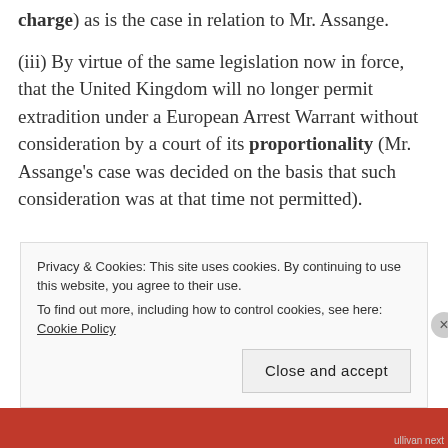charge) as is the case in relation to Mr. Assange.
(iii) By virtue of the same legislation now in force, that the United Kingdom will no longer permit extradition under a European Arrest Warrant without consideration by a court of its proportionality (Mr. Assange's case was decided on the basis that such consideration was at that time not permitted).
Privacy & Cookies: This site uses cookies. By continuing to use this website, you agree to their use. To find out more, including how to control cookies, see here: Cookie Policy
Close and accept